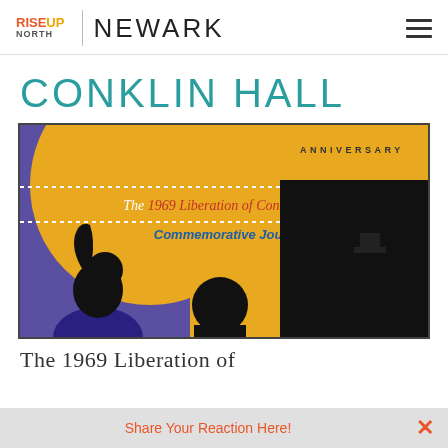RiseUp North | NEWARK
CONKLIN HALL
[Figure (illustration): Book cover for 'The 1969 Liberation of Conklin Hall Commemorative Journal' featuring an anniversary design with purple and gold colors, silhouetted figures, dotted border lines, and bold typography.]
The 1969 Liberation of
Share Your Reaction Here!